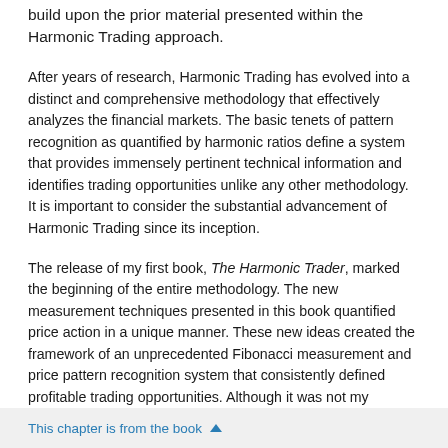build upon the prior material presented within the Harmonic Trading approach.
After years of research, Harmonic Trading has evolved into a distinct and comprehensive methodology that effectively analyzes the financial markets. The basic tenets of pattern recognition as quantified by harmonic ratios define a system that provides immensely pertinent technical information and identifies trading opportunities unlike any other methodology. It is important to consider the substantial advancement of Harmonic Trading since its inception.
The release of my first book, The Harmonic Trader, marked the beginning of the entire methodology. The new measurement techniques presented in this book quantified price action in a unique manner. These new ideas created the framework of an unprecedented Fibonacci measurement and price pattern recognition system that consistently defined profitable trading opportunities. Although it was not my intention to formulate such a
This chapter is from the book